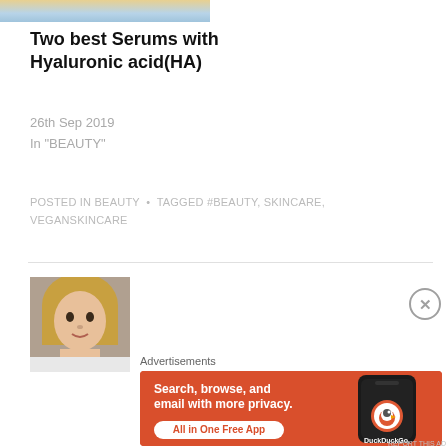[Figure (photo): Partial cropped photo at top — person with light background]
Two best Serums with Hyaluronic acid(HA)
26th Sep 2019
In "BEAUTY"
POSTED IN BEAUTY  •  TAGGED #BEAUTY, SKINCARE, VEGANSKINCARE
[Figure (photo): Avatar/profile photo of a woman with blonde hair]
Advertisements
[Figure (other): DuckDuckGo advertisement banner: Search, browse, and email with more privacy. All in One Free App]